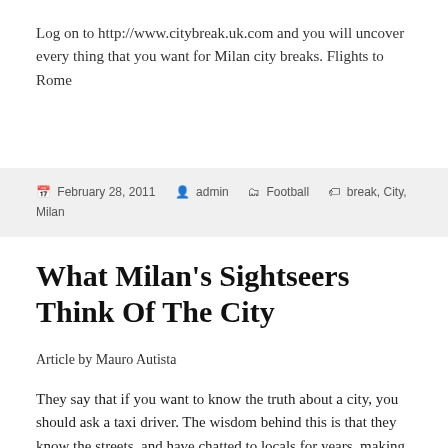Log on to http://www.citybreak.uk.com and you will uncover every thing that you want for Milan city breaks. Flights to Rome
February 28, 2011   admin   Football   break, City, Milan
What Milan's Sightseers Think Of The City
Article by Mauro Autista
They say that if you want to know the truth about a city, you should ask a taxi driver. The wisdom behind this is that they know the streets, and have chatted to locals for years, making them more